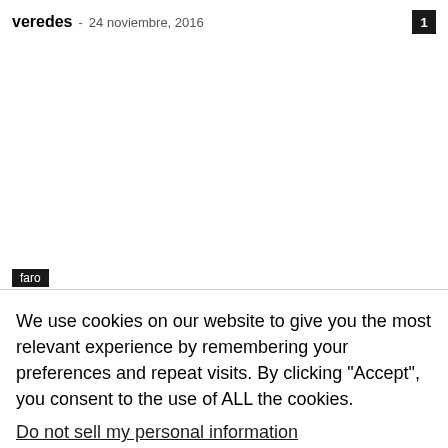veredes  -  24 noviembre, 2016
faro
We use cookies on our website to give you the most relevant experience by remembering your preferences and repeat visits. By clicking “Accept”, you consent to the use of ALL the cookies.
Do not sell my personal information.
Configuración de cookies   ACEPTAR